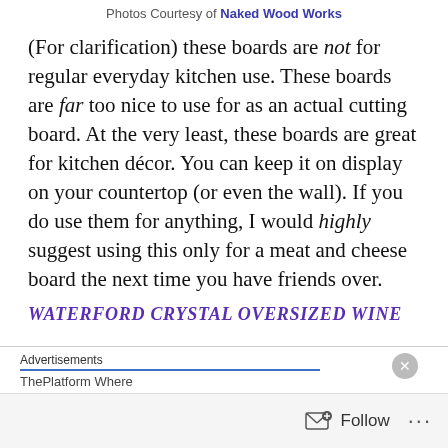Photos Courtesy of Naked Wood Works
(For clarification) these boards are not for regular everyday kitchen use. These boards are far too nice to use for as an actual cutting board. At the very least, these boards are great for kitchen décor. You can keep it on display on your countertop (or even the wall). If you do use them for anything, I would highly suggest using this only for a meat and cheese board the next time you have friends over.
WATERFORD CRYSTAL OVERSIZED WINE
Advertisements
ThePlatform Where